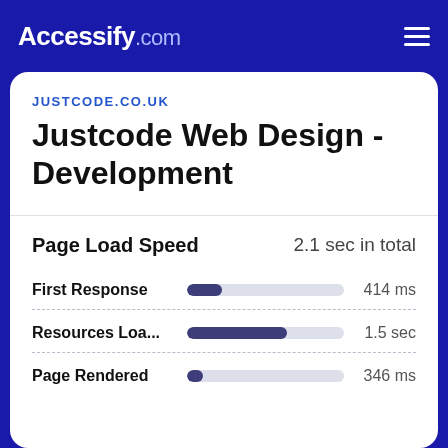Accessify.com
JUSTCODE.CO.UK
Justcode Web Design - Development
Page Load Speed
2.1 sec in total
First Response 414 ms
Resources Loa... 1.5 sec
Page Rendered 346 ms